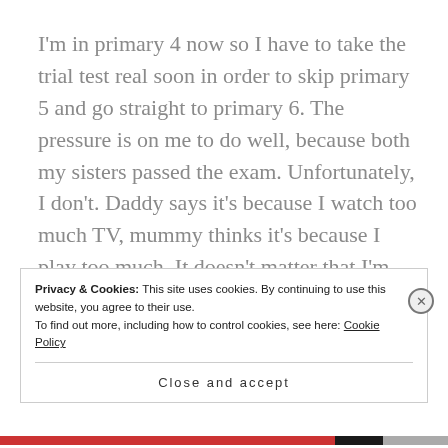I'm in primary 4 now so I have to take the trial test real soon in order to skip primary 5 and go straight to primary 6. The pressure is on me to do well, because both my sisters passed the exam. Unfortunately, I don't. Daddy says it's because I watch too much TV, mummy thinks it's because I play too much. It doesn't matter that I'm the top student in the Primary 5 class, my sisters say I'm the first among the olodo's . I
Privacy & Cookies: This site uses cookies. By continuing to use this website, you agree to their use.
To find out more, including how to control cookies, see here: Cookie Policy
Close and accept